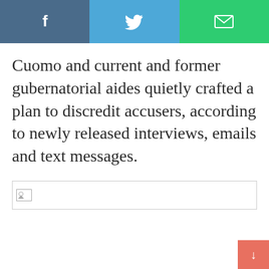[Figure (other): Social share bar with Facebook (dark blue), Twitter (light blue), and Email (green) buttons with white icons]
Cuomo and current and former gubernatorial aides quietly crafted a plan to discredit accusers, according to newly released interviews, emails and text messages.
[Figure (other): Broken image placeholder — a wide rectangular box with a small broken-image icon in the top-left corner]